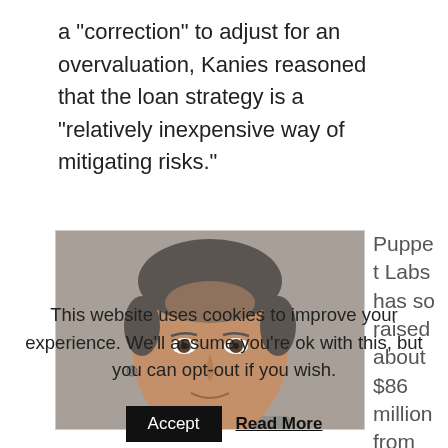a "correction" to adjust for an overvaluation, Kanies reasoned that the loan strategy is a "relatively inexpensive way of mitigating risks."
[Figure (photo): Close-up photo of a middle-aged man with short dark grey hair, smiling slightly, wearing an earring, photographed against a grey concrete background.]
Puppet Labs has so raised about $86 million from
This website uses cookies to improve your experience. We'll assume you're ok with this, but you can opt-out if you wish.
Accept
Read More